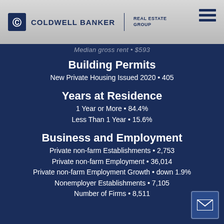Coldwell Banker Real Estate Group
Median gross rent • $593
Building Permits
New Private Housing Issued 2020 • 405
Years at Residence
1 Year or More • 84.4%
Less Than 1 Year • 15.6%
Business and Employment
Private non-farm Establishments • 2,753
Private non-farm Employment • 36,014
Private non-farm Employment Growth • down 1.9%
Nonemployer Establishments • 7,105
Number of Firms • 8,511